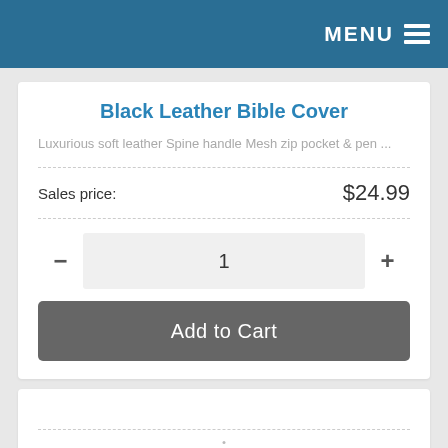MENU
Black Leather Bible Cover
Luxurious soft leather Spine handle Mesh zip pocket & pen ...
Sales price: $24.99
- 1 +
Add to Cart